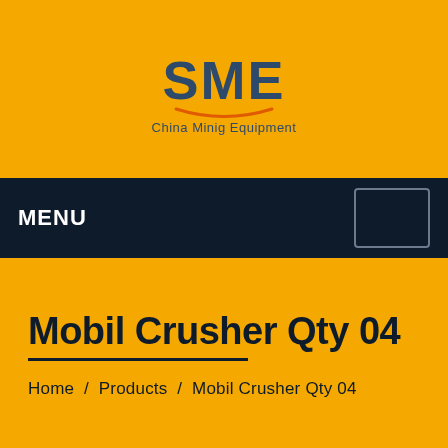[Figure (logo): SME logo with text 'China Minig Equipment' in dark blue on yellow background]
MENU
Mobil Crusher Qty 04
Home / Products / Mobil Crusher Qty 04